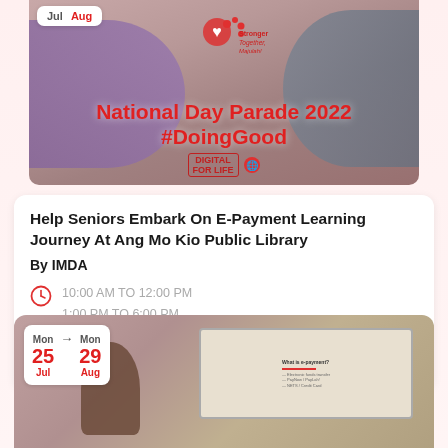[Figure (photo): Event banner photo showing seniors learning e-payment with National Day Parade 2022 #DoingGood overlay text and Digital For Life logo]
National Day Parade 2022 #DoingGood
Help Seniors Embark On E-Payment Learning Journey At Ang Mo Kio Public Library
By IMDA
10:00 AM TO 12:00 PM
1:00 PM TO 6:00 PM
2 sessions each day
Ang Mo Kio
[Figure (photo): Photo of a presenter at Ang Mo Kio Public Library with a projection screen showing content about e-payment]
Mon 25 Jul → Mon 29 Aug